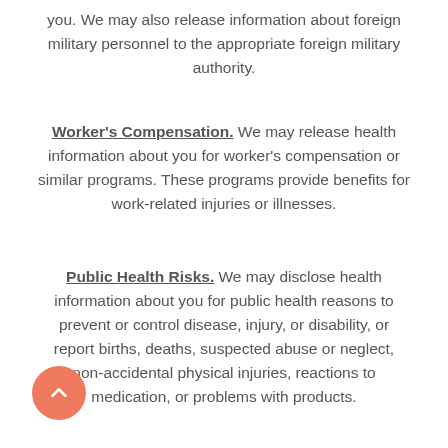you. We may also release information about foreign military personnel to the appropriate foreign military authority.
Worker's Compensation. We may release health information about you for worker's compensation or similar programs. These programs provide benefits for work-related injuries or illnesses.
Public Health Risks. We may disclose health information about you for public health reasons to prevent or control disease, injury, or disability, or report births, deaths, suspected abuse or neglect, non-accidental physical injuries, reactions to medication, or problems with products.